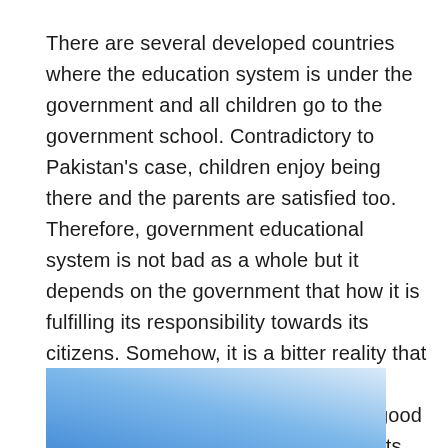There are several developed countries where the education system is under the government and all children go to the government school. Contradictory to Pakistan's case, children enjoy being there and the parents are satisfied too. Therefore, government educational system is not bad as a whole but it depends on the government that how it is fulfilling its responsibility towards its citizens. Somehow, it is a bitter reality that Pakistani government schools do not have many facilities and rarely have good teaching staff. Alternatively, the parents find private school better than a government school.
[Figure (photo): A blue-toned image, gradient from blue at the bottom-left to white/light at the top-right, partially visible at the bottom of the page.]